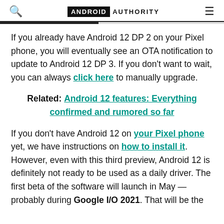ANDROID AUTHORITY
If you already have Android 12 DP 2 on your Pixel phone, you will eventually see an OTA notification to update to Android 12 DP 3. If you don't want to wait, you can always click here to manually upgrade.
Related: Android 12 features: Everything confirmed and rumored so far
If you don't have Android 12 on your Pixel phone yet, we have instructions on how to install it. However, even with this third preview, Android 12 is definitely not ready to be used as a daily driver. The first beta of the software will launch in May — probably during Google I/O 2021. That will be the